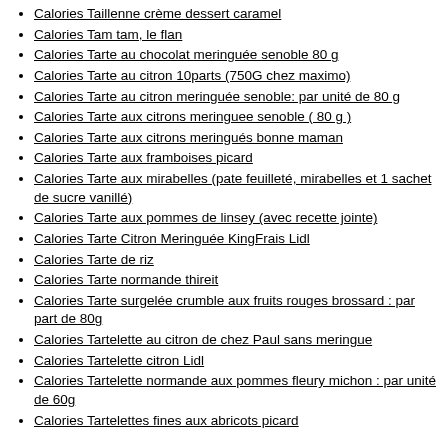Calories Taillenne crème dessert caramel
Calories Tam tam, le flan
Calories Tarte au chocolat meringuée senoble 80 g
Calories Tarte au citron 10parts (750G chez maximo)
Calories Tarte au citron meringuée senoble: par unité de 80 g
Calories Tarte aux citrons meringuee senoble ( 80 g )
Calories Tarte aux citrons meringués bonne maman
Calories Tarte aux framboises picard
Calories Tarte aux mirabelles (pate feuilleté, mirabelles et 1 sachet de sucre vanillé)
Calories Tarte aux pommes de linsey (avec recette jointe)
Calories Tarte Citron Meringuée KingFrais Lidl
Calories Tarte de riz
Calories Tarte normande thireit
Calories Tarte surgelée crumble aux fruits rouges brossard : par part de 80g
Calories Tartelette au citron de chez Paul sans meringue
Calories Tartelette citron Lidl
Calories Tartelette normande aux pommes fleury michon : par unité de 60g
Calories Tartelettes fines aux abricots picard